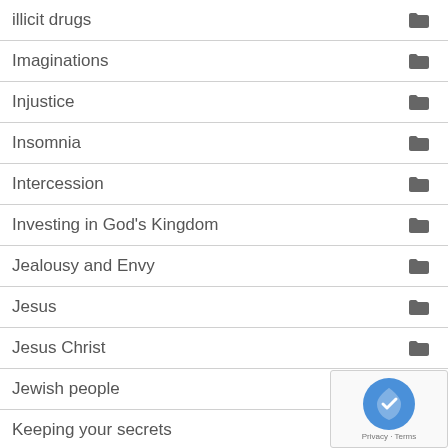illicit drugs
Imaginations
Injustice
Insomnia
Intercession
Investing in God's Kingdom
Jealousy and Envy
Jesus
Jesus Christ
Jewish people
Keeping your secrets
Kingdom of Heaven
Lord's Prayer